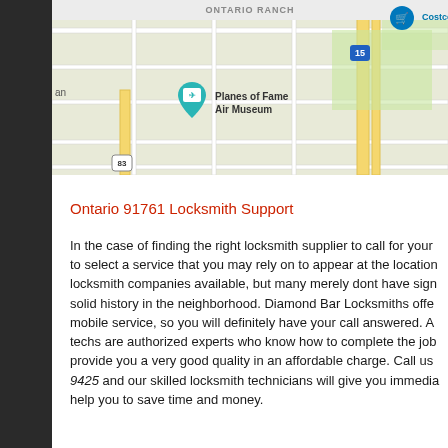[Figure (map): Google Maps screenshot showing Ontario Ranch area with landmarks including Planes of Fame Air Museum (marked with teal pin), Costco Wholesale (upper right, partially cut off), highway markers for routes 15 and 83, and road grid layout.]
Ontario 91761 Locksmith Support
In the case of finding the right locksmith supplier to call for your to select a service that you may rely on to appear at the location locksmith companies available, but many merely dont have sign solid history in the neighborhood. Diamond Bar Locksmiths offe mobile service, so you will definitely have your call answered. A techs are authorized experts who know how to complete the job provide you a very good quality in an affordable charge. Call us 9425 and our skilled locksmith technicians will give you immedia help you to save time and money.